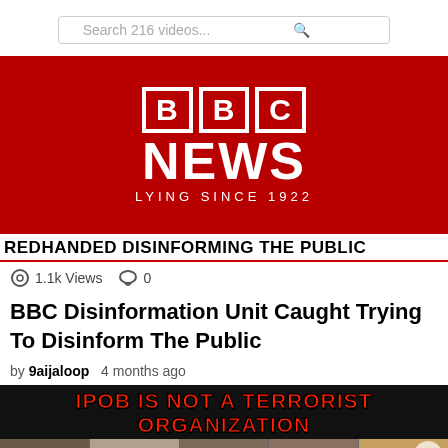[Figure (screenshot): Search bar with text 'Search 216 videos...' and a search icon]
[Figure (screenshot): BBC News logo on dark red background with text 'LYING SINCE 1922' below, followed by black banner 'REDHANDED DISINFORMING THE PUBLIC']
1.1k Views   0
BBC Disinformation Unit Caught Trying To Disinform The Public
by 9aijaloop   4 months ago
[Figure (screenshot): Video thumbnail with black background, red text 'IPOB IS NOT A TERRORIST ORGANIZATION' and row of faces below]